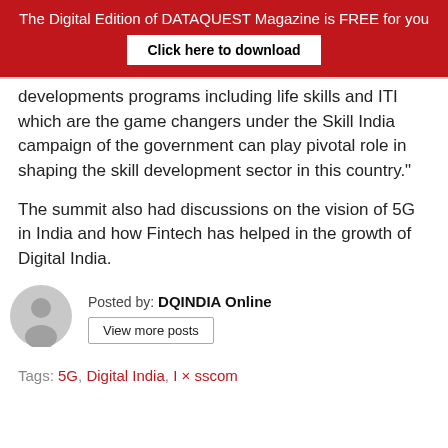The Digital Edition of DATAQUEST Magazine is FREE for you | Click here to download
developments programs including life skills and ITI which are the game changers under the Skill India campaign of the government can play pivotal role in shaping the skill development sector in this country."
The summit also had discussions on the vision of 5G in India and how Fintech has helped in the growth of Digital India.
Posted by: DQINDIA Online
View more posts
Tags: 5G, Digital India, I × sscom